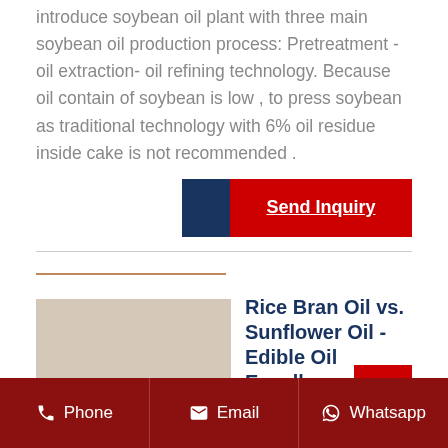introduce soybean oil plant with three main soybean oil production process: Pretreatment - oil extraction- oil refining technology. Because oil contain of soybean is low , to press soybean as traditional technology with 6% oil residue inside cake is not recommended .
[Figure (other): Send Inquiry button with dark blue left panel and red right panel with white bold underlined text]
[Figure (other): Horizontal divider line followed by a short orange/tan decorative rule]
Rice Bran Oil vs. Sunflower Oil - Edible Oil Expeller Machinery
Phone   Email   Whatsapp